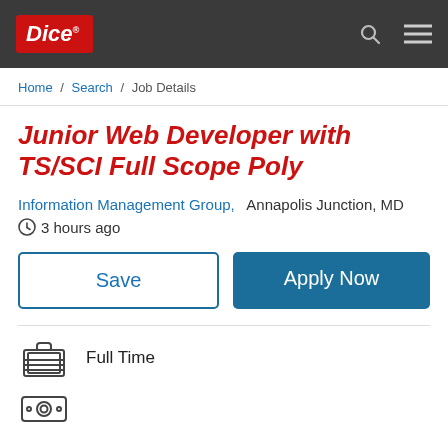Dice
Home / Search / Job Details
Junior Web Developer with TS/SCI Full Scope Poly
Information Management Group,  Annapolis Junction, MD
3 hours ago
Save
Apply Now
Full Time
Job Description